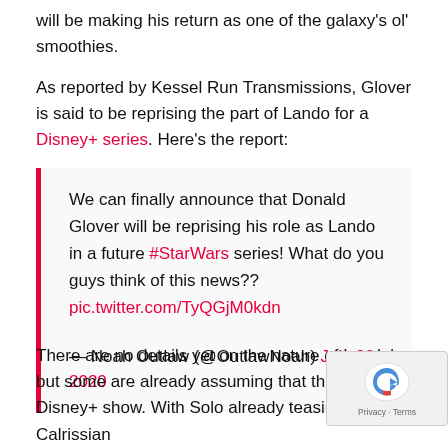will be making his return as one of the galaxy's ol' smoothies.
As reported by Kessel Run Transmissions, Glover is said to be reprising the part of Lando for a Disney+ series. Here's the report:
We can finally announce that Donald Glover will be reprising his role as Lando in a future #StarWars series! What do you guys think of this news?? pic.twitter.com/TyQGjM0kdn

— Noah Outlaw (@OutlawNoah) July 22, 2020
There are no details yet on the nature of Lando's re but some are already assuming that this will be his Disney+ show. With Solo already teasing The Calrissian